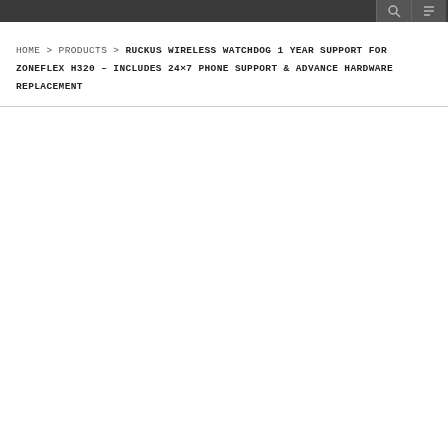HOME > PRODUCTS > RUCKUS WIRELESS WATCHDOG 1 YEAR SUPPORT FOR ZONEFLEX H320 – INCLUDES 24×7 PHONE SUPPORT & ADVANCE HARDWARE REPLACEMENT